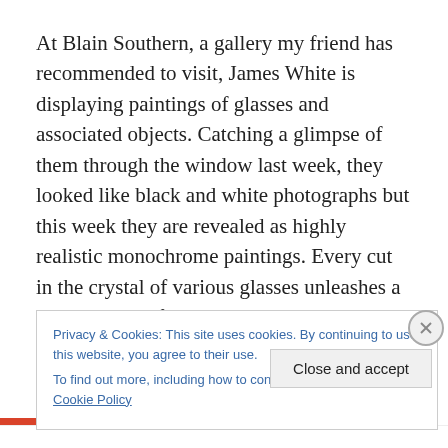At Blain Southern, a gallery my friend has recommended to visit, James White is displaying paintings of glasses and associated objects. Catching a glimpse of them through the window last week, they looked like black and white photographs but this week they are revealed as highly realistic monochrome paintings. Every cut in the crystal of various glasses unleashes a new cascade of white paint
Privacy & Cookies: This site uses cookies. By continuing to use this website, you agree to their use.
To find out more, including how to control cookies, see here: Cookie Policy
Close and accept